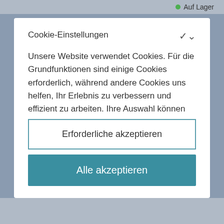Auf Lager
Cookie-Einstellungen
Unsere Website verwendet Cookies. Für die Grundfunktionen sind einige Cookies erforderlich, während andere Cookies uns helfen, Ihr Erlebnis zu verbessern und effizient zu arbeiten. Ihre Auswahl können Sie jederzeit auf der Seite Cookie-
Erforderliche akzeptieren
Alle akzeptieren